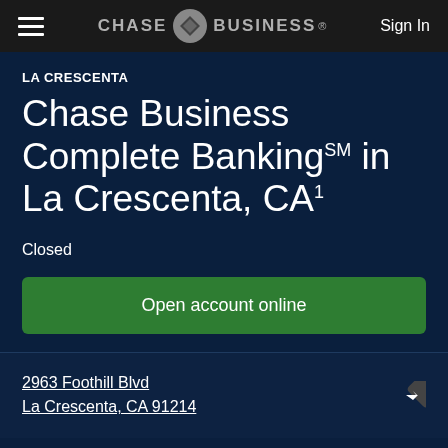CHASE for BUSINESS — Sign In
LA CRESCENTA
Chase Business Complete Banking℠ in La Crescenta, CA¹
Closed
Open account online
2963 Foothill Blvd
La Crescenta, CA 91214